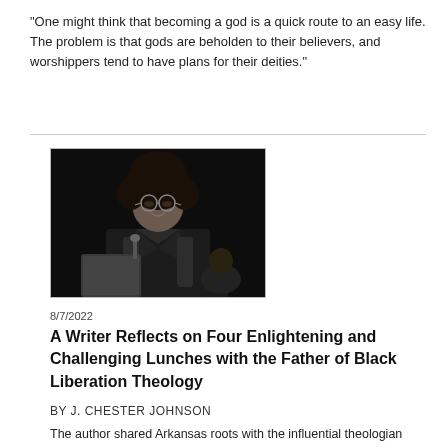"One might think that becoming a god is a quick route to an easy life. The problem is that gods are beholden to their believers, and worshippers tend to have plans for their deities."
[Figure (photo): Black and white photograph of a man in academic regalia (doctoral robes) speaking at a podium, with an afro hairstyle and glasses, smiling.]
8/7/2022
A Writer Reflects on Four Enlightening and Challenging Lunches with the Father of Black Liberation Theology
BY J. CHESTER JOHNSON
The author shared Arkansas roots with the influential theologian and teacher, from opposite sides of the color line. Their exchanges showed